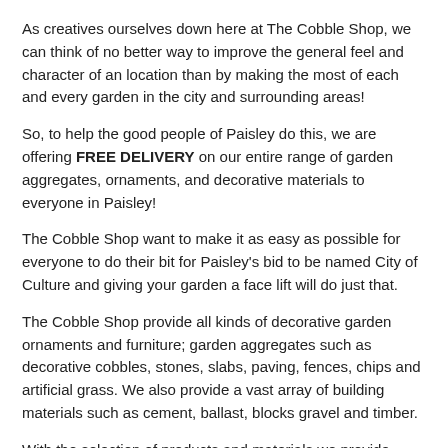As creatives ourselves down here at The Cobble Shop, we can think of no better way to improve the general feel and character of an location than by making the most of each and every garden in the city and surrounding areas!
So, to help the good people of Paisley do this, we are offering FREE DELIVERY on our entire range of garden aggregates, ornaments, and decorative materials to everyone in Paisley!
The Cobble Shop want to make it as easy as possible for everyone to do their bit for Paisley's bid to be named City of Culture and giving your garden a face lift will do just that.
The Cobble Shop provide all kinds of decorative garden ornaments and furniture; garden aggregates such as decorative cobbles, stones, slabs, paving, fences, chips and artificial grass. We also provide a vast array of building materials such as cement, ballast, blocks gravel and timber.
With the selection of products and materials we provide, what